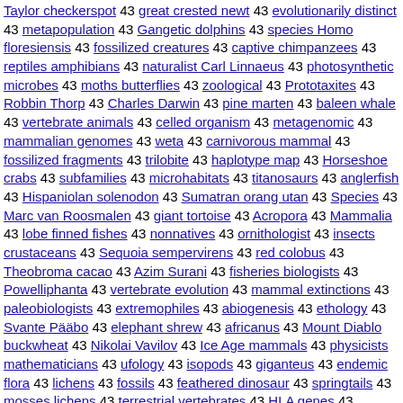Taylor checkerspot 43 great crested newt 43 evolutionarily distinct 43 metapopulation 43 Gangetic dolphins 43 species Homo floresiensis 43 fossilized creatures 43 captive chimpanzees 43 reptiles amphibians 43 naturalist Carl Linnaeus 43 photosynthetic microbes 43 moths butterflies 43 zoological 43 Prototaxites 43 Robbin Thorp 43 Charles Darwin 43 pine marten 43 baleen whale 43 vertebrate animals 43 celled organism 43 metagenomic 43 mammalian genomes 43 weta 43 carnivorous mammal 43 fossilized fragments 43 trilobite 43 haplotype map 43 Horseshoe crabs 43 subfamilies 43 microhabitats 43 titanosaurs 43 anglerfish 43 Hispaniolan solenodon 43 Sumatran orang utan 43 Species 43 Marc van Roosmalen 43 giant tortoise 43 Acropora 43 Mammalia 43 lobe finned fishes 43 nonnatives 43 ornithologist 43 insects crustaceans 43 Sequoia sempervirens 43 red colobus 43 Theobroma cacao 43 Azim Surani 43 fisheries biologists 43 Powelliphanta 43 vertebrate evolution 43 mammal extinctions 43 paleobiologists 43 extremophiles 43 abiogenesis 43 ethology 43 Svante Pääbo 43 elephant shrew 43 africanus 43 Mount Diablo buckwheat 43 Nikolai Vavilov 43 Ice Age mammals 43 physicists mathematicians 43 ufology 43 isopods 43 giganteus 43 endemic flora 43 lichens 43 fossils 43 feathered dinosaur 43 springtails 43 mosses lichens 43 terrestrial vertebrates 43 HLA genes 43 nudibranchs 43 herbarium specimens 43 geochemists 43 mammalogists 43 archeopteryx 43 evolutionary lineages 43 Enduring Voices 43 Near Threatened 43 ichthyologists 43